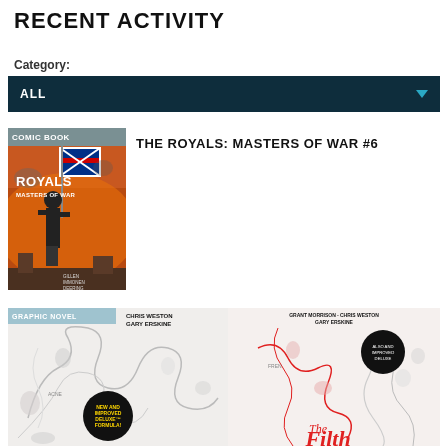RECENT ACTIVITY
Category:
ALL
THE ROYALS: MASTERS OF WAR #6
[Figure (illustration): Comic book cover for The Royals: Masters of War #6, showing a figure with a Union Jack flag in a war scene with fire and ruins]
[Figure (illustration): Graphic novel cover showing abstract line art with black circular sticker reading NEW AND IMPROVED DELUXE FORMULA, authors Chris Weston and Gary Erskine]
[Figure (illustration): Graphic novel cover for The Filth by Grant Morrison, Chris Weston, Gary Erskine, showing abstract red and gray line art with The Filth title at bottom]